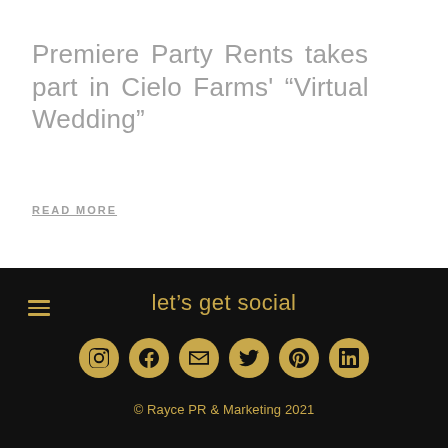Premiere Party Rents takes part in Cielo Farms' “Virtual Wedding”
READ MORE
let’s get social
© Rayce PR & Marketing 2021